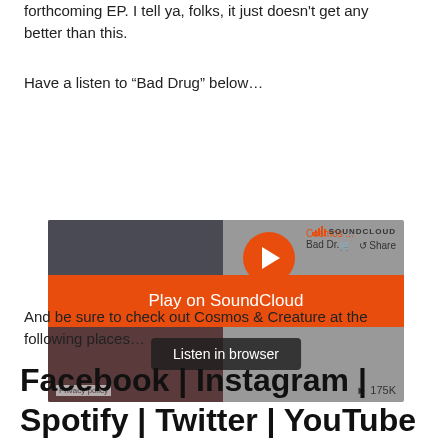forthcoming EP. I tell ya, folks, it just doesn't get any better than this.
Have a listen to “Bad Drug” below…
[Figure (screenshot): Embedded SoundCloud player widget showing 'Cosmos... Bad Dr.' track with Play on SoundCloud button and Listen in browser button. Shows 175K plays.]
And be sure to check out Cosmos & Creature at the following places…
Facebook | Instagram | Spotify | Twitter | YouTube